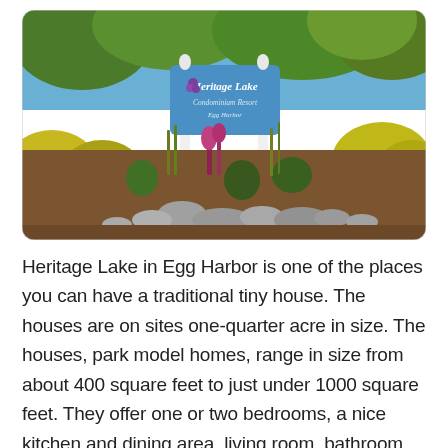[Figure (photo): Outdoor entrance sign for Heritage Lake Condominium Resort in Egg Harbor, surrounded by colorful landscaping with rocks, mulch, shrubs, and trees.]
Heritage Lake in Egg Harbor is one of the places you can have a traditional tiny house. The houses are on sites one-quarter acre in size. The houses, park model homes, range in size from about 400 square feet to just under 1000 square feet. They offer one or two bedrooms, a nice kitchen and dining area, living room, bathroom, and